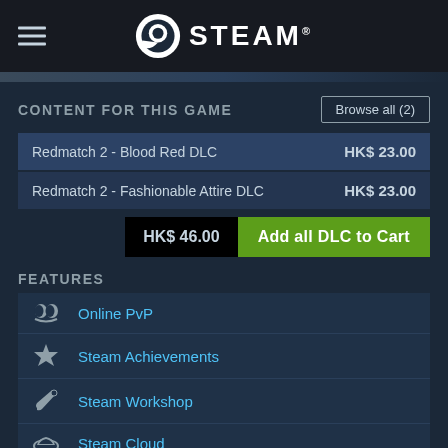STEAM
CONTENT FOR THIS GAME
| DLC Name | Price |
| --- | --- |
| Redmatch 2 - Blood Red DLC | HK$ 23.00 |
| Redmatch 2 - Fashionable Attire DLC | HK$ 23.00 |
HK$ 46.00 | Add all DLC to Cart
FEATURES
Online PvP
Steam Achievements
Steam Workshop
Steam Cloud
Stats